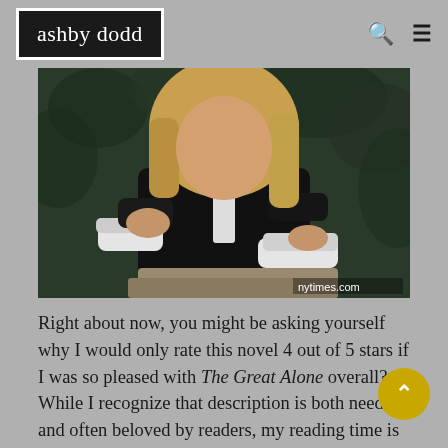ashby dodd
[Figure (photo): A woman with blonde hair wearing a black jacket with white cuffs, arms crossed, leaning on a stone surface with green foliage in background. Watermark: nytimes.com]
Right about now, you might be asking yourself why I would only rate this novel 4 out of 5 stars if I was so pleased with The Great Alone overall? While I recognize that description is both needed and often beloved by readers, my reading time is so limited these days that I get bored when the story isn't moving